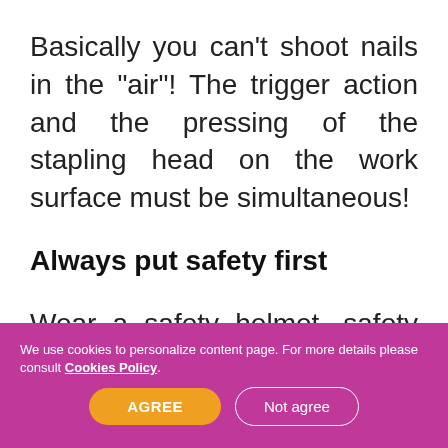Basically you can't shoot nails in the "air"! The trigger action and the pressing of the stapling head on the work surface must be simultaneous!
Always put safety first
Wear a safety helmet, safety glasses and leather gloves. It may seem like a lot, but sometimes dangerous tool
We use cookies to personalize content page. For more details please consult Cookies Policy.